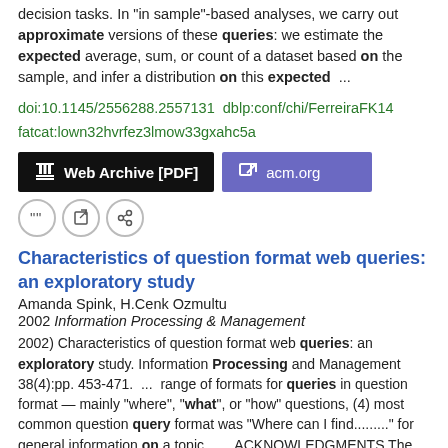decision tasks. In "in sample"-based analyses, we carry out approximate versions of these queries: we estimate the expected average, sum, or count of a dataset based on the sample, and infer a distribution on this expected ...
doi:10.1145/2556288.2557131  dblp:conf/chi/FerreiraFK14
fatcat:lown32hvrfez3lmow33gxahc5a
[Figure (other): Two buttons: 'Web Archive [PDF]' in black with building icon, and 'acm.org' in purple with external link icon]
[Figure (other): Three circular icon buttons: quote, edit/external link, and share/chain link]
Characteristics of question format web queries: an exploratory study
Amanda Spink, H.Cenk Ozmultu
2002 Information Processing & Management
2002) Characteristics of question format web queries: an exploratory study. Information Processing and Management 38(4):pp. 453-471.  ...  range of formats for queries in question format — mainly "where", "what", or "how" questions, (4) most common question query format was "Where can I find........." for general information on a topic,  ...  ACKNOWLEDGMENTS The authors would like to thank Jack Xu from Excite, Inc for access to